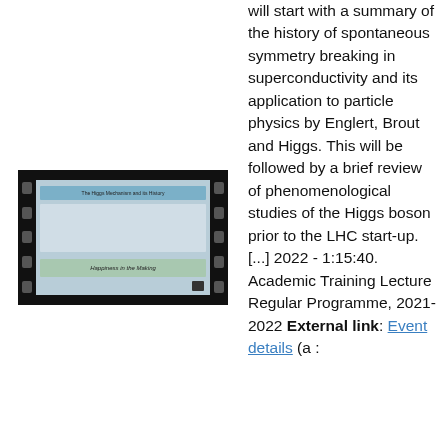will start with a summary of the history of spontaneous symmetry breaking in superconductivity and its application to particle physics by Englert, Brout and Higgs. This will be followed by a brief review of phenomenological studies of the Higgs boson prior to the LHC start-up. [...] 2022 - 1:15:40. Academic Training Lecture Regular Programme, 2021-2022 External link: Event details (a :
[Figure (screenshot): Film strip thumbnail showing a presentation slide with a blue header bar, a diagram in the middle, and a caption reading 'Happiness in the Making' at the bottom.]